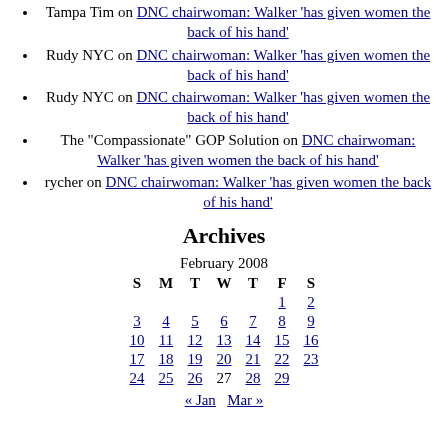Tampa Tim on DNC chairwoman: Walker 'has given women the back of his hand'
Rudy NYC on DNC chairwoman: Walker 'has given women the back of his hand'
Rudy NYC on DNC chairwoman: Walker 'has given women the back of his hand'
The "Compassionate" GOP Solution on DNC chairwoman: Walker 'has given women the back of his hand'
rycher on DNC chairwoman: Walker 'has given women the back of his hand'
Archives
| S | M | T | W | T | F | S |
| --- | --- | --- | --- | --- | --- | --- |
|  |  |  |  |  | 1 | 2 |
| 3 | 4 | 5 | 6 | 7 | 8 | 9 |
| 10 | 11 | 12 | 13 | 14 | 15 | 16 |
| 17 | 18 | 19 | 20 | 21 | 22 | 23 |
| 24 | 25 | 26 | 27 | 28 | 29 |  |
« Jan   Mar »